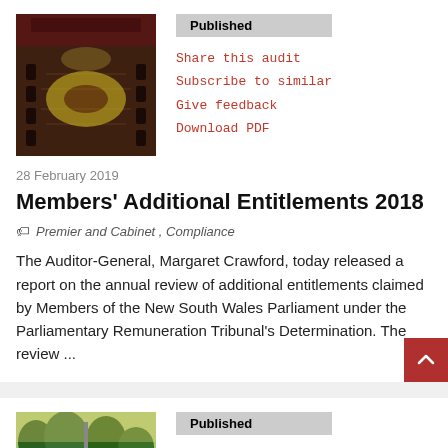[Figure (photo): Aerial view of a parliamentary chamber with chairs arranged around a central table on patterned carpet]
Published
Share this audit
Subscribe to similar
Give feedback
Download PDF
28 February 2019
Members' Additional Entitlements 2018
Premier and Cabinet , Compliance
The Auditor-General, Margaret Crawford, today released a report on the annual review of additional entitlements claimed by Members of the New South Wales Parliament under the Parliamentary Remuneration Tribunal's Determination. The review ...
[Figure (photo): Outdoor park scene with trees and people visible]
Published
Share this audit
Subscribe to similar